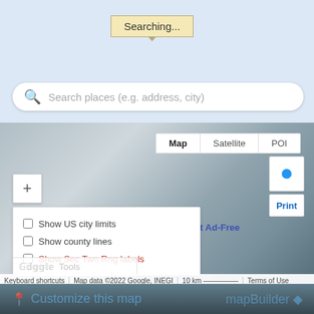[Figure (screenshot): Web map interface showing a 'Searching...' tooltip, a search bar reading 'Search places (e.g. address, city)', a Google Maps-style map with Map/Satellite/POI toggle buttons, zoom button, location button, Print button, Get Ad-Free link, a checkbox panel with options 'Show US city limits', 'Show county lines', 'Show Sec Twn Rng labels', and a map footer with 'Keyboard shortcuts', 'Map data ©2022 Google, INEGI', '10 km scale bar', and 'Terms of Use'. Bottom strip shows 'Customize this map' and 'mapBuilder' branding.]